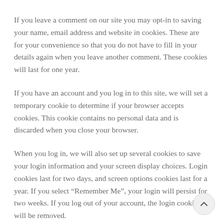If you leave a comment on our site you may opt-in to saving your name, email address and website in cookies. These are for your convenience so that you do not have to fill in your details again when you leave another comment. These cookies will last for one year.
If you have an account and you log in to this site, we will set a temporary cookie to determine if your browser accepts cookies. This cookie contains no personal data and is discarded when you close your browser.
When you log in, we will also set up several cookies to save your login information and your screen display choices. Login cookies last for two days, and screen options cookies last for a year. If you select “Remember Me”, your login will persist for two weeks. If you log out of your account, the login cookies will be removed.
If you edit or publish an article, an additional cookie will be saved in your browser. This cookie includes no